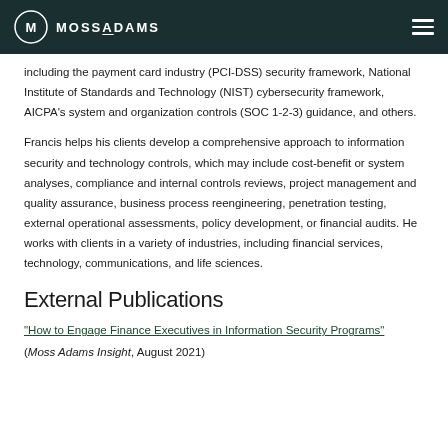MOSS ADAMS
including the payment card industry (PCI-DSS) security framework, National Institute of Standards and Technology (NIST) cybersecurity framework, AICPA's system and organization controls (SOC 1-2-3) guidance, and others.
Francis helps his clients develop a comprehensive approach to information security and technology controls, which may include cost-benefit or system analyses, compliance and internal controls reviews, project management and quality assurance, business process reengineering, penetration testing, external operational assessments, policy development, or financial audits. He works with clients in a variety of industries, including financial services, technology, communications, and life sciences.
External Publications
“How to Engage Finance Executives in Information Security Programs”
(Moss Adams Insight, August 2021)